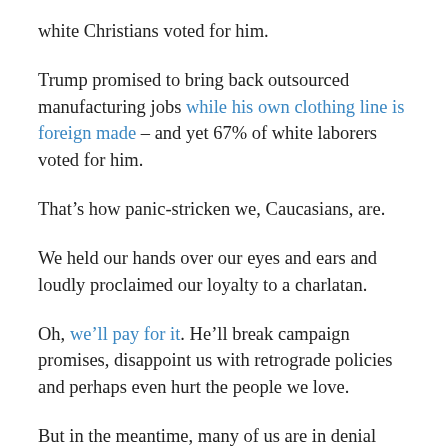white Christians voted for him.
Trump promised to bring back outsourced manufacturing jobs while his own clothing line is foreign made – and yet 67% of white laborers voted for him.
That’s how panic-stricken we, Caucasians, are.
We held our hands over our eyes and ears and loudly proclaimed our loyalty to a charlatan.
Oh, we’ll pay for it. He’ll break campaign promises, disappoint us with retrograde policies and perhaps even hurt the people we love.
But in the meantime, many of us are in denial